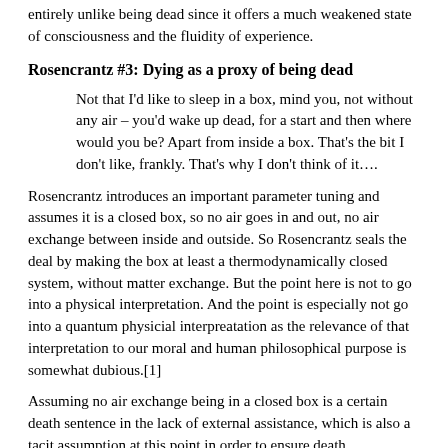entirely unlike being dead since it offers a much weakened state of consciousness and the fluidity of experience.
Rosencrantz #3: Dying as a proxy of being dead
Not that I'd like to sleep in a box, mind you, not without any air – you'd wake up dead, for a start and then where would you be? Apart from inside a box. That's the bit I don't like, frankly. That's why I don't think of it….
Rosencrantz introduces an important parameter tuning and assumes it is a closed box, so no air goes in and out, no air exchange between inside and outside. So Rosencrantz seals the deal by making the box at least a thermodynamically closed system, without matter exchange. But the point here is not to go into a physical interpretation. And the point is especially not go into a quantum physicial interpreatation as the relevance of that interpretation to our moral and human philosophical purpose is somewhat dubious.[1]
Assuming no air exchange being in a closed box is a certain death sentence in the lack of external assistance, which is also a tacit assumption at this point in order to ensure death.
So starting from an initial condition of sleeping (and having